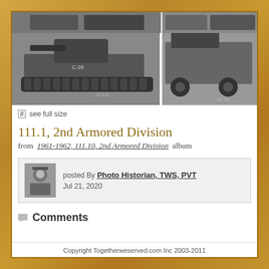[Figure (photo): Black and white photo collage showing military tanks and vehicles from the 2nd Armored Division, 1961-1962. Left panel shows a tank labeled C-26, right panel shows a military half-track vehicle.]
see full size
111.1, 2nd Armored Division
from  1961-1962, 111.10, 2nd Armored Division  album
posted By Photo Historian, TWS, PVT
Jul 21, 2020
Comments
Copyright Togetherweserved.com Inc 2003-2011